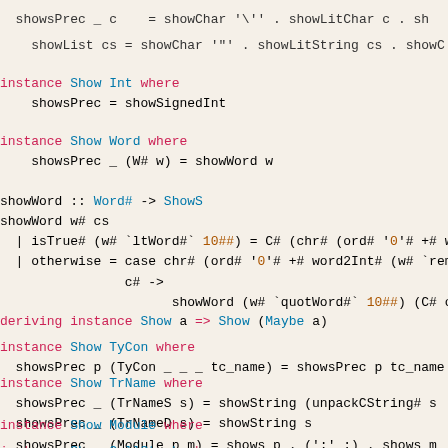showsPrec _ c    = showChar '\'' . showLitChar c . sh
showList cs = showChar '"' . showLitString cs . showC
instance Show Int where
    showsPrec = showSignedInt
instance Show Word where
    showsPrec _ (W# w) = showWord w
showWord :: Word# -> ShowS
showWord w# cs
  | isTrue# (w# `ltWord#` 10##) = C# (chr# (ord# '0'# +# w
  | otherwise = case chr# (ord# '0'# +# word2Int# (w# `rem
                c# ->
                      showWord (w# `quotWord#` 10##) (C# c#
deriving instance Show a => Show (Maybe a)
instance Show TyCon where
  showsPrec p (TyCon _ _ _ tc_name) = showsPrec p tc_name
instance Show TrName where
  showsPrec _ (TrNameS s) = showString (unpackCString# s
  showsPrec _ (TrNameD s) = showString s
instance Show Module where
  showsPrec _ (Module p m) = shows p . (':' :) . shows m
instance Show CallStack where